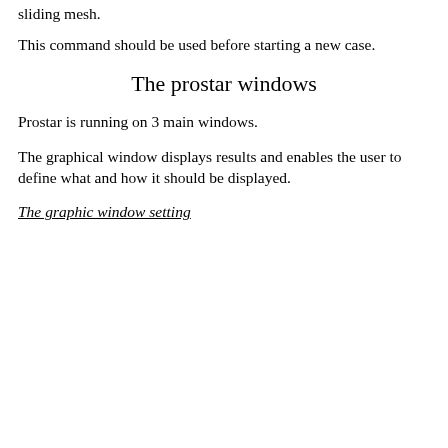sliding mesh.
This command should be used before starting a new case.
The prostar windows
Prostar is running on 3 main windows.
The graphical window displays results and enables the user to define what and how it should be displayed.
The graphic window setting